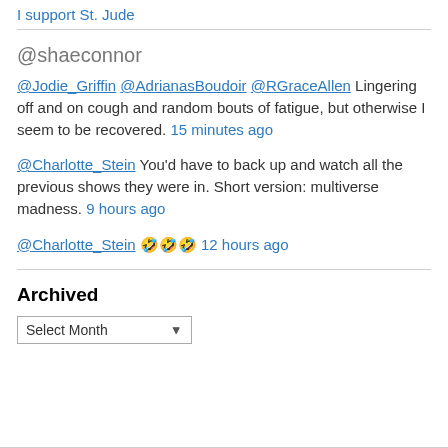I support St. Jude
@shaeconnor
@Jodie_Griffin @AdrianasBoudoir @RGraceAllen Lingering off and on cough and random bouts of fatigue, but otherwise I seem to be recovered. 15 minutes ago
@Charlotte_Stein You'd have to back up and watch all the previous shows they were in. Short version: multiverse madness. 9 hours ago
@Charlotte_Stein 🤣🤣🤣 12 hours ago
Archived
Select Month